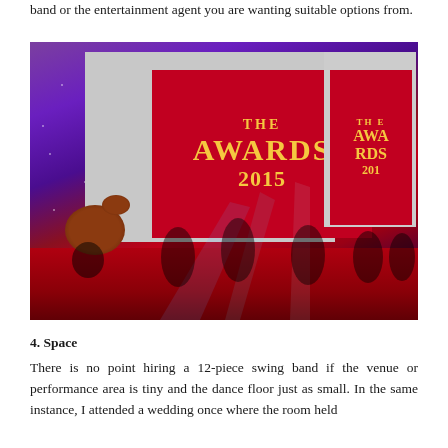band or the entertainment agent you are wanting suitable options from.
[Figure (photo): A live band performing on stage at 'The Awards 2015' event. Multiple performers on a red-carpeted stage with purple/violet stage lighting. A red banner with gold text reading 'THE AWARDS 2015' is visible in the background, along with drum kit and guitar players.]
4. Space
There is no point hiring a 12-piece swing band if the venue or performance area is tiny and the dance floor just as small. In the same instance, I attended a wedding once where the room held